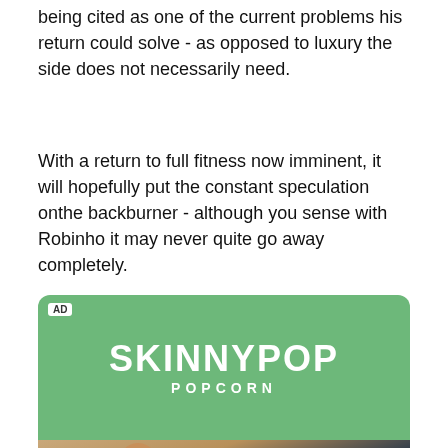being cited as one of the current problems his return could solve - as opposed to luxury the side does not necessarily need.
With a return to full fitness now imminent, it will hopefully put the constant speculation onthe backburner - although you sense with Robinho it may never quite go away completely.
[Figure (other): SkinnyPop Popcorn advertisement banner with green textured background showing brand logo and a photo of a smiling man below]